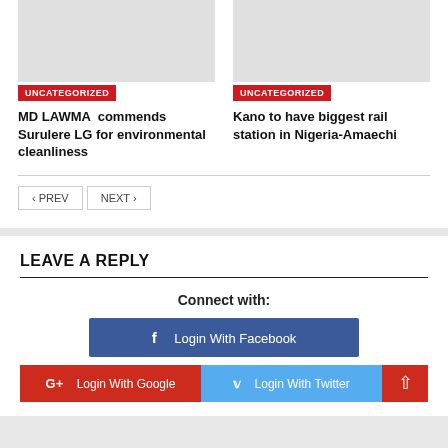[Figure (photo): Gray placeholder image for article card 1]
UNCATEGORIZED
MD LAWMA  commends Surulere LG for environmental cleanliness
[Figure (photo): Gray placeholder image for article card 2]
UNCATEGORIZED
Kano to have biggest rail station in Nigeria-Amaechi
< PREV   NEXT >
LEAVE A REPLY
Connect with:
Login With Facebook
Login With Google
Login With Twitter